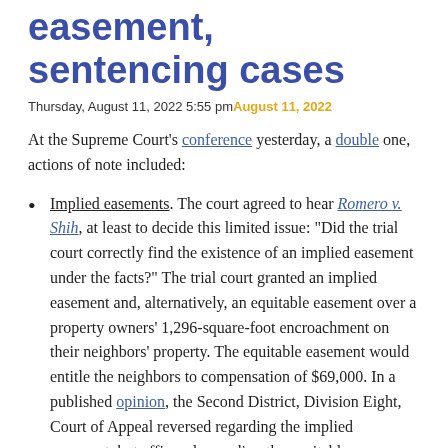easement, sentencing cases
Thursday, August 11, 2022 5:55 pm August 11, 2022
At the Supreme Court's conference yesterday, a double one, actions of note included:
Implied easements. The court agreed to hear Romero v. Shih, at least to decide this limited issue: “Did the trial court correctly find the existence of an implied easement under the facts?” The trial court granted an implied easement and, alternatively, an equitable easement over a property owners’ 1,296-square-foot encroachment on their neighbors’ property. The equitable easement would entitle the neighbors to compensation of $69,000. In a published opinion, the Second District, Division Eight, Court of Appeal reversed regarding the implied easement, but affirmed regarding the equitable